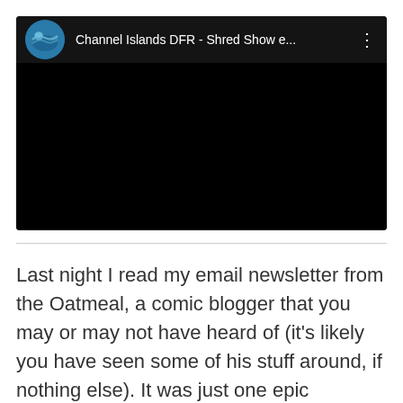[Figure (screenshot): Embedded video player showing a YouTube-style embed. Header shows a circular channel avatar with ocean/surf image, channel name 'Channel Islands DFR - Shred Show e...' with a three-dot menu icon. The main video area is entirely black (video not loaded/playing).]
Last night I read my email newsletter from the Oatmeal, a comic blogger that you may or may not have heard of (it's likely you have seen some of his stuff around, if nothing else). It was just one epic